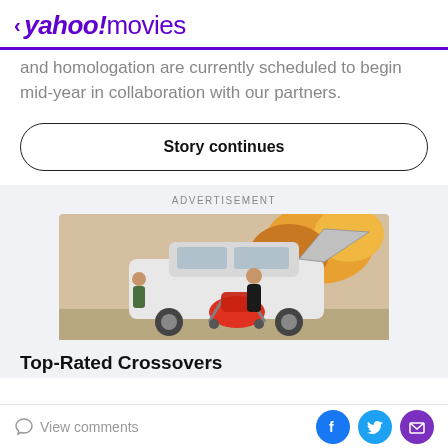< yahoo!movies
and homologation are currently scheduled to begin mid-year in collaboration with our partners.
Story continues
ADVERTISEMENT
[Figure (photo): A woman loading a red baby stroller into the trunk of a white SUV, with a child standing nearby, set in an autumn outdoor scene.]
Top-Rated Crossovers
View comments